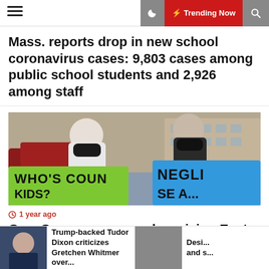Trending Now
Mass. reports drop in new school coronavirus cases: 9,803 cases among public school students and 2,926 among staff
[Figure (photo): Two people wearing black face masks holding protest signs outside a school. One green sign reads WHO'S COUNTING KIDS? and one blue sign reads NEGLIGIA... (partially visible).]
1 year ago
Gov. Cuomo approves law giving East Ramapo monitors veto power
Trump-backed Tudor Dixon criticizes Gretchen Whitmer over...
Desi... and s...